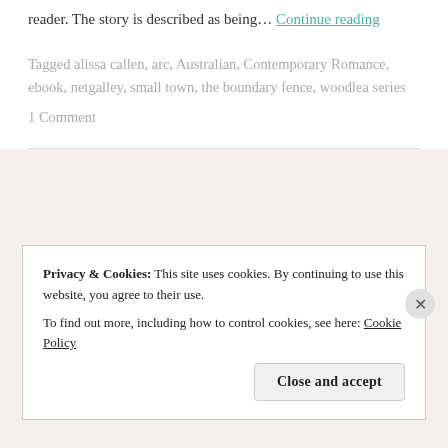reader. The story is described as being… Continue reading
Tagged alissa callen, arc, Australian, Contemporary Romance, ebook, netgalley, small town, the boundary fence, woodlea series
1 Comment
Privacy & Cookies: This site uses cookies. By continuing to use this website, you agree to their use.
To find out more, including how to control cookies, see here: Cookie Policy
Close and accept